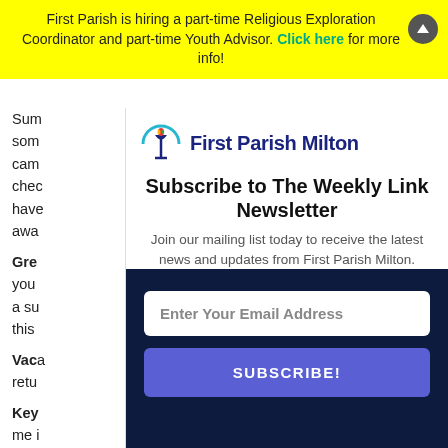First Parish is hiring a part-time Religious Exploration Coordinator and part-time Youth Advisor. Click here for more info!
Sum... do som... e cam... chec... t have... n awa...
Gre... g. If you be a su... do this
Vaca... retu...
Key... or me i... e
[Figure (logo): First Parish Milton logo with chalice icon and text]
Subscribe to The Weekly Link Newsletter
Join our mailing list today to receive the latest news and updates from First Parish Milton.
Enter Your Email Address
SUBSCRIBE!